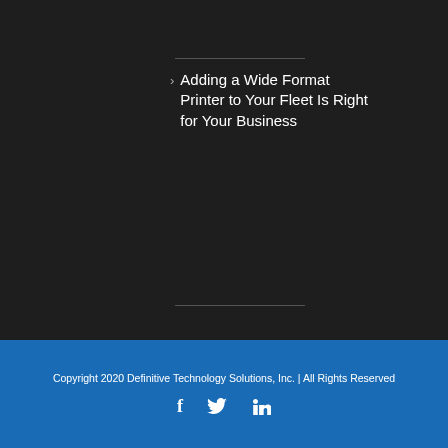Adding a Wide Format Printer to Your Fleet Is Right for Your Business
Copyright 2020 Definitive Technology Solutions, Inc. | All Rights Reserved